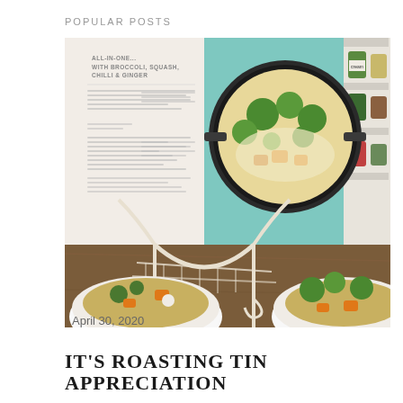POPULAR POSTS
[Figure (photo): A cookbook open on a decorative white wire book stand, showing a recipe page with a teal background and a photo of a pan dish with broccoli, squash, chilli and ginger. In the foreground are two white bowls filled with a grain and vegetable dish featuring broccoli, butternut squash and chickpeas on a wooden surface. To the right, a white shelf with spice jars is visible.]
April 30, 2020
IT'S ROASTING TIN APPRECIATION